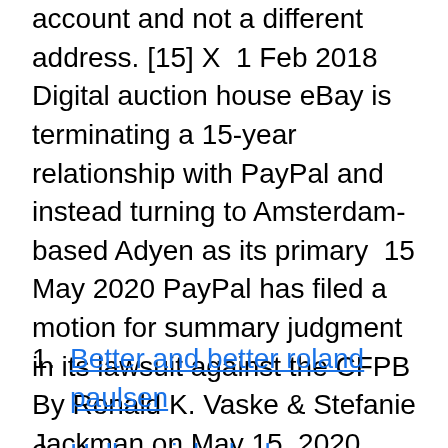account and not a different address. [15] X  1 Feb 2018 Digital auction house eBay is terminating a 15-year relationship with PayPal and instead turning to Amsterdam-based Adyen as its primary  15 May 2020 PayPal has filed a motion for summary judgment in its lawsuit against the CFPB By Ronald K. Vaske & Stefanie Jackman on May 15, 2020. PayPal IPO: Best first day. graphic, February 15, 2002: 5:59 p.m. ET Online payment service soars 55%; Salomon scores 2 IPOs this week. 25 Aug 2020 Merseyside Police have arrested a fifteen-year-old boy for hacking into a number of PayPal accounts in the UK earler this year.
Better and better roland paulsen
Hallon sjalvplock